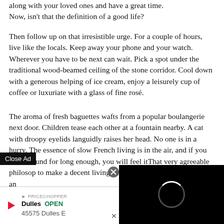along with your loved ones and have a great time. Now, isn't that the definition of a good life?
Then follow up on that irresistible urge. For a couple of hours, live like the locals. Keep away your phone and your watch. Wherever you have to be next can wait. Pick a spot under the traditional wood-beamed ceiling of the stone corridor. Cool down with a generous helping of ice cream, enjoy a leisurely cup of coffee or luxuriate with a glass of fine rosé.
The aroma of fresh baguettes wafts from a popular boulangerie next door. Children tease each other at a fountain nearby. A cat with droopy eyelids languidly raises her head. No one is in a hurry. The essence of slow French living is in the air, and if you stick around for long enough, you will feel it... That very agreeable philosop... to make a decent living can b... morning, they take it easy, an...
[Figure (other): Advertisement overlay: Close Ad button at bottom left, a video loading spinner on black background at right, and a banner ad at bottom showing Dulles OPEN and address 45575 Dulles E...]